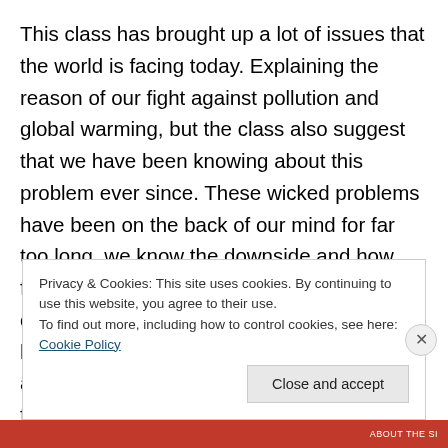This class has brought up a lot of issues that the world is facing today. Explaining the reason of our fight against pollution and global warming, but the class also suggest that we have been knowing about this problem ever since. These wicked problems have been on the back of our mind for far too long, we know the downside and how fixing these issues would be very hard to overcome. These issues we talked about have allowed us to collectively agree there is a problem, and the solution requires action from a group. Major takeaways from this class is that even
Privacy & Cookies: This site uses cookies. By continuing to use this website, you agree to their use.
To find out more, including how to control cookies, see here: Cookie Policy